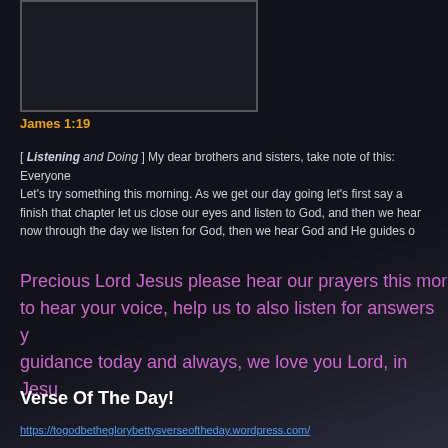[Figure (other): Dark rectangular image placeholder with border]
James 1:19
[ Listening and Doing ] My dear brothers and sisters, take note of this: Everyone Let's try something this morning. As we get our day going let's first say a finish that chapter let us close our eyes and listen to God, and then we hear now through the day we listen for God, then we hear God and He guides o
Precious Lord Jesus please hear our prayers this mor to hear your voice, help us to also listen for answers y guidance today and always, we love you Lord, in Jesu
Verse Of The Day!
https://togodbetheglorybettysverseoftheday.wordpress.com/